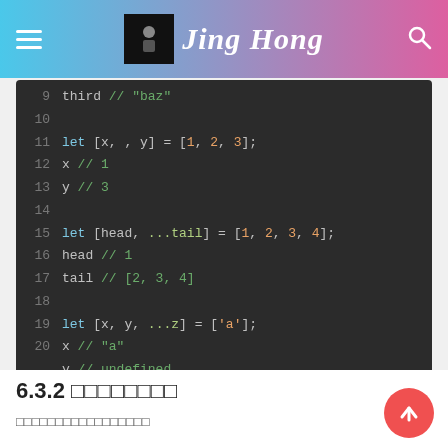Jing Hong
[Figure (screenshot): Code block showing JavaScript array destructuring examples, lines 9-20]
6.3.2 □□□□□□□□
□□□□□□□□□□□□□□□□□